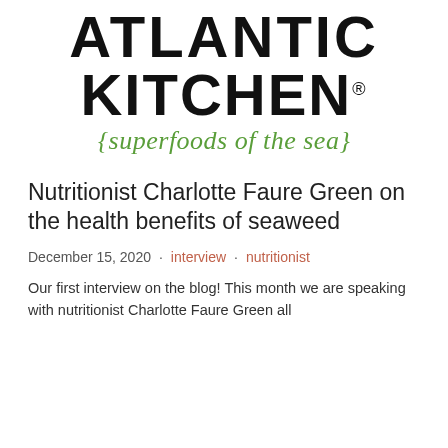[Figure (logo): Atlantic Kitchen logo with 'superfoods of the sea' tagline in green italic script]
Nutritionist Charlotte Faure Green on the health benefits of seaweed
December 15, 2020  •  interview  •  nutritionist
Our first interview on the blog! This month we are speaking with nutritionist Charlotte Faure Green all